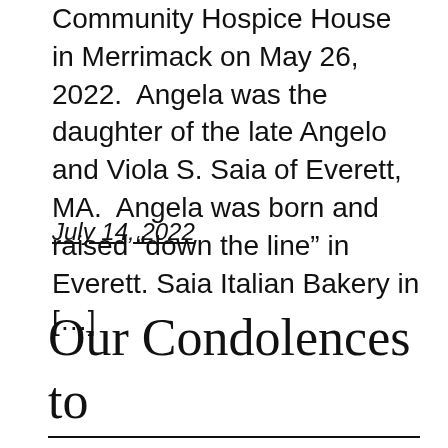Community Hospice House in Merrimack on May 26, 2022.  Angela was the daughter of the late Angelo and Viola S. Saia of Everett, MA.  Angela was born and raised “down the line” in Everett. Saia Italian Bakery in […]
July 14, 2022
Our Condolences to